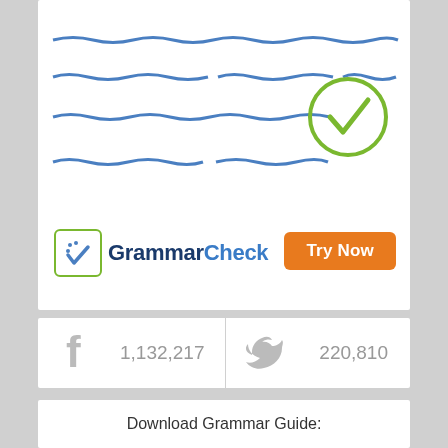[Figure (logo): GrammarCheck advertisement card with wavy blue text lines, green checkmark circle, GrammarCheck logo, and orange Try Now button]
1,132,217
220,810
Download Grammar Guide: